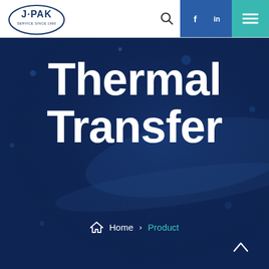[Figure (logo): J-PAK logo with oval shape and 'Service Since 1960' text]
Thermal Transfer
Home > Product